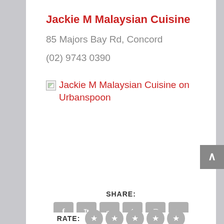Jackie M Malaysian Cuisine
85 Majors Bay Rd, Concord
(02) 9743 0390
[Figure (screenshot): Broken image placeholder followed by link text: Jackie M Malaysian Cuisine on Urbanspoon]
SHARE:
[Figure (infographic): Social sharing icons: Facebook, Twitter, Google+, Tumblr, Pinterest, LinkedIn - all grey rounded square buttons]
RATE:
[Figure (infographic): Five grey star rating circles]